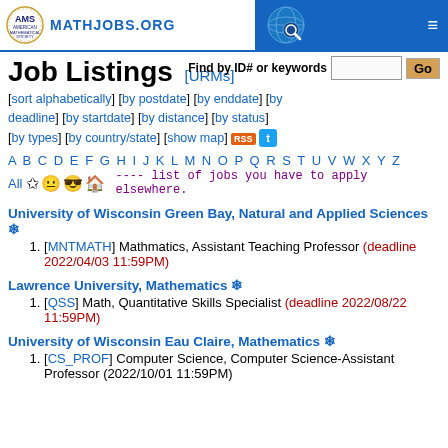AMS MATHJOBS.ORG
Job Listings [URMs]
[sort alphabetically] [by postdate] [by enddate] [by deadline] [by startdate] [by distance] [by status] [by types] [by country/state] [show map] RSS
Find by ID# or keywords   Go
A B C D E F G H I J K L M N O P Q R S T U V W X Y Z
All ---- list of jobs you have to apply elsewhere.
University of Wisconsin Green Bay, Natural and Applied Sciences
[MNTMATH] Mathmatics, Assistant Teaching Professor (deadline 2022/04/03 11:59PM)
Lawrence University, Mathematics
[QSS] Math, Quantitative Skills Specialist (deadline 2022/08/22 11:59PM)
University of Wisconsin Eau Claire, Mathematics
[CS_PROF] Computer Science, Computer Science-Assistant Professor (2022/10/01 11:59PM)